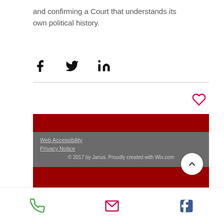and confirming a Court that understands its own political history.
[Figure (other): Social share icons: Facebook, Twitter, LinkedIn]
[Figure (other): Heart/like icon (red outline)]
Web Accessibility
Privacy Notice
© 2017 by Janus. Proudly created with Wix.com
[Figure (other): Bottom navigation bar with phone, email, and Facebook icons]